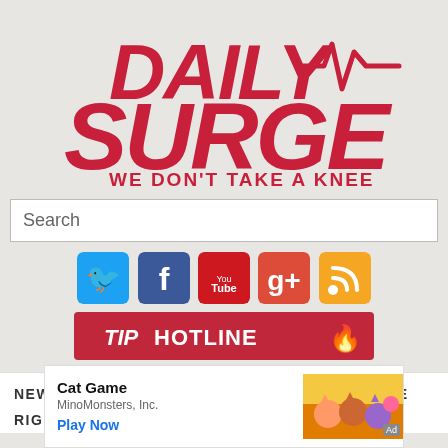[Figure (logo): Daily Surge logo — bold red italic text 'DAILY SURGE' with heartbeat/EKG line graphic. Tagline: WE DON'T TAKE A KNEE]
Search
[Figure (infographic): Row of social media icons: Twitter (blue bird), Facebook (blue f), YouTube (red), Google+ (orange g+), RSS (orange)]
[Figure (logo): TIP HOTLINE button in dark red/crimson with flame icon]
NEWS  INSIGHT  VIDEOS  ABOUT  SUBSCRIBE
RIGHT REPORT
[Figure (screenshot): Advertisement for Cat Game by MinoMonsters, Inc. with Play Now link and game artwork showing cartoon cats on yellow/orange background. Ad label in corner.]